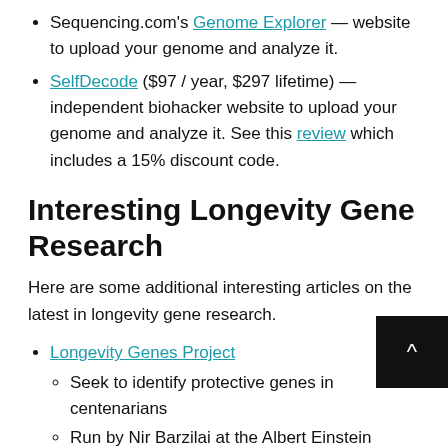Sequencing.com's Genome Explorer — website to upload your genome and analyze it.
SelfDecode ($97 / year, $297 lifetime) — independent biohacker website to upload your genome and analyze it. See this review which includes a 15% discount code.
Interesting Longevity Gene Research
Here are some additional interesting articles on the latest in longevity gene research.
Longevity Genes Project
Seek to identify protective genes in centenarians
Run by Nir Barzilai at the Albert Einstein College of Medicine